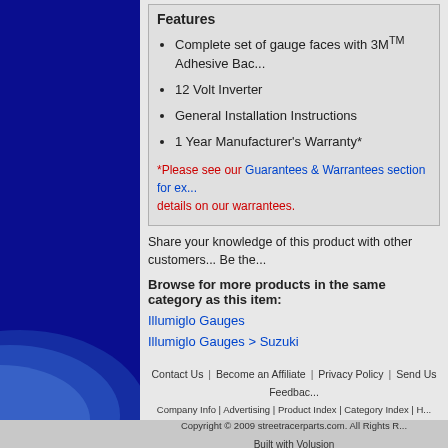Features
Complete set of gauge faces with 3M™ Adhesive Back
12 Volt Inverter
General Installation Instructions
1 Year Manufacturer's Warranty*
*Please see our Guarantees & Warrantees section for ex... details on our warrantees.
Share your knowledge of this product with other customers... Be the...
Browse for more products in the same category as this item:
Illumiglo Gauges
Illumiglo Gauges > Suzuki
Contact Us | Become an Affiliate | Privacy Policy | Send Us Feedback
Company Info | Advertising | Product Index | Category Index | H...
Copyright © 2009 streetracerparts.com. All Rights R...
Built with Volusion